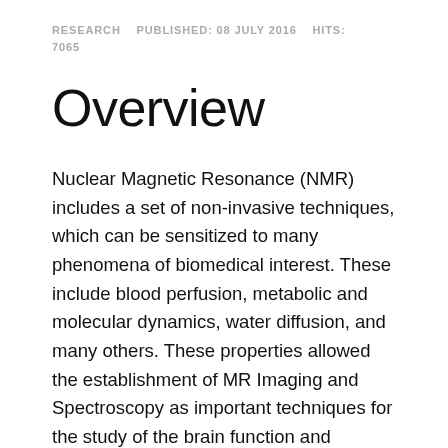RESEARCH    PUBLISHED: 08 JULY 2016    HITS: 7065
Overview
Nuclear Magnetic Resonance (NMR) includes a set of non-invasive techniques, which can be sensitized to many phenomena of biomedical interest. These include blood perfusion, metabolic and molecular dynamics, water diffusion, and many others. These properties allowed the establishment of MR Imaging and Spectroscopy as important techniques for the study of the brain function and structure and of the relevant diseases. Furthermore, MR development resulted in a large everyday-life impact, including advanced diagnostic tools.
Beyond its capability to produce excellent tomographic imaging of the central nervous